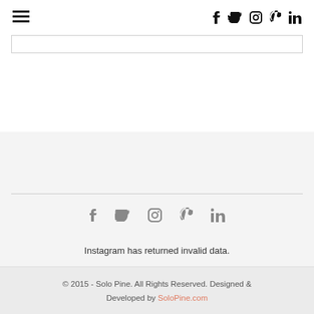≡  f  𝐭  ⊙  ⊛  in
[Figure (screenshot): Empty search/input box with light border]
[Figure (screenshot): Footer section with social media icons (Facebook, Twitter, Instagram, Pinterest, LinkedIn) in gray]
Instagram has returned invalid data.
© 2015 - Solo Pine. All Rights Reserved. Designed & Developed by SoloPine.com
BACK TO TOP ^